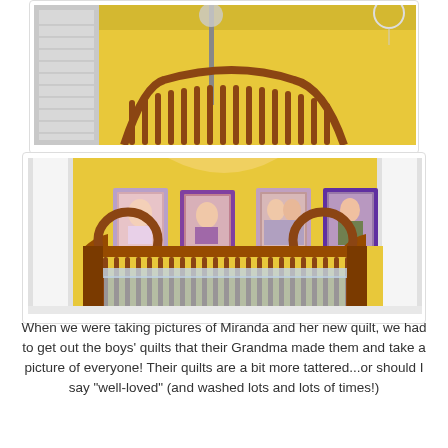[Figure (photo): Partial photo showing the top portion of a yellow-walled baby room with a wooden crib headboard, a floor lamp, and white window blinds visible.]
[Figure (photo): Photo of a yellow-walled nursery with a wooden baby crib in the foreground and four framed photos hung on the wall, showing children/babies in purple frames.]
When we were taking pictures of Miranda and her new quilt, we had to get out the boys' quilts that their Grandma made them and take a picture of everyone! Their quilts are a bit more tattered...or should I say "well-loved" (and washed lots and lots of times!)